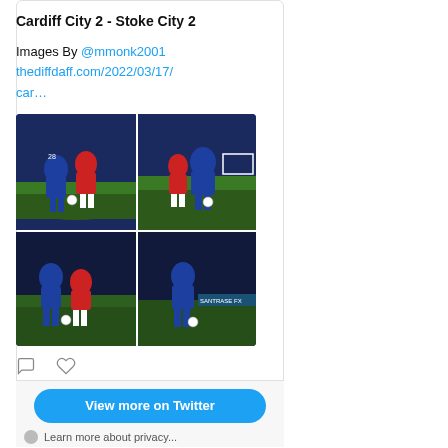Cardiff City 2 - Stoke City 2
Images By @mmonk2001 thediffdaff.com/2022/03/17/car…
[Figure (photo): Four football match photos arranged in a 2x2 grid showing Cardiff City vs Stoke City players in action on the pitch, players wearing blue and red/white kits]
View more on Twitter
Learn more about privacy...